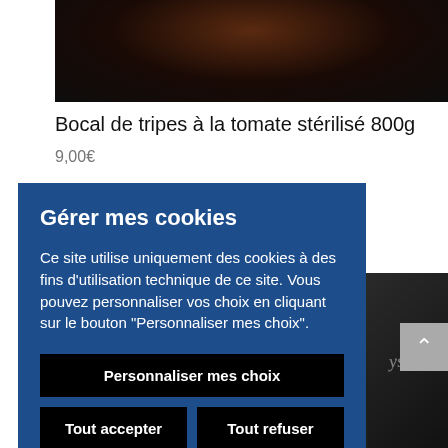[Figure (photo): Product photo partially visible at top, dark background with what appears to be a jar of tripes à la tomate]
Bocal de tripes à la tomate stérilisé 800g
9,00€
Gérer mes cookies
Ce site utilise uniquement des cookies à des fins d'utilisation technique de ce site. Vous pouvez personnaliser vos choix en cliquant sur le bouton "Personnaliser mes choix".
Personnaliser mes choix
Tout accepter
Tout refuser
[Figure (photo): Partial product image visible on right side with cursive text 'ysam']
[Figure (photo): Bottom partial product image with price tag]